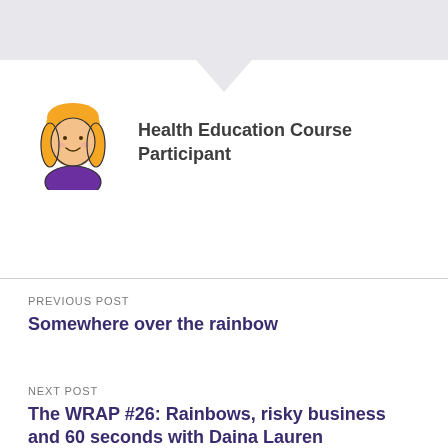[Figure (illustration): Gray speech bubble / header area at top of page with downward pointing triangle tail]
[Figure (illustration): Cartoon avatar of a woman with orange/blonde hair, smiling face, wearing a purple top]
Health Education Course Participant
PREVIOUS POST
Somewhere over the rainbow
NEXT POST
The WRAP #26: Rainbows, risky business and 60 seconds with Daina Lauren